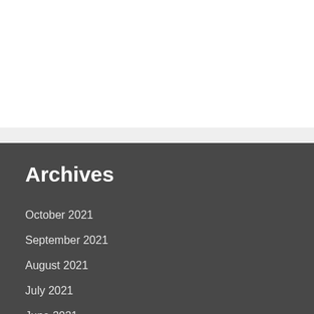Archives
October 2021
September 2021
August 2021
July 2021
June 2021